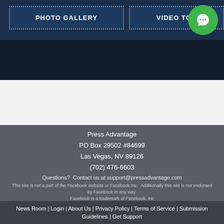[Figure (screenshot): Navigation buttons: PHOTO GALLERY and VIDEO TOUR on dark blue background, with a green chat circle icon in the top right]
Press Advantage
PO Box 29502 #84699
Las Vegas, NV 89126
(702) 476-6603
Questions?  Contact us at support@pressadvantage.com
This site is not a part of the Facebook website or Facebook Inc.  Additionally this site is not endorsed by Facebook in any way.
Facebook is a trademark of Facebook, Inc
News Room | Login | About Us | Privacy Policy | Terms of Service | Submission Guidelines | Get Support